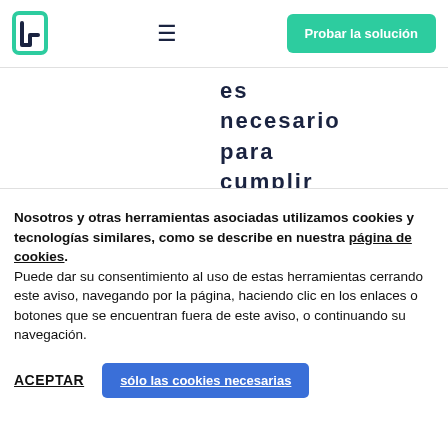Logo and navigation bar with hamburger menu and 'Probar la solución' button
es necesario para cumplir con
Nosotros y otras herramientas asociadas utilizamos cookies y tecnologías similares, como se describe en nuestra página de cookies. Puede dar su consentimiento al uso de estas herramientas cerrando este aviso, navegando por la página, haciendo clic en los enlaces o botones que se encuentran fuera de este aviso, o continuando su navegación.
ACEPTAR
sólo las cookies necesarias